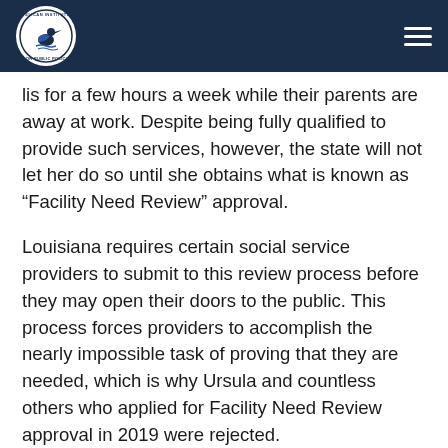Pelican Institute for Public Policy — navigation header
li…s for a few hours a week while their parents are away at work. Despite being fully qualified to provide such services, however, the state will not let her do so until she obtains what is known as “Facility Need Review” approval.
Louisiana requires certain social service providers to submit to this review process before they may open their doors to the public. This process forces providers to accomplish the nearly impossible task of proving that they are needed, which is why Ursula and countless others who applied for Facility Need Review approval in 2019 were rejected.